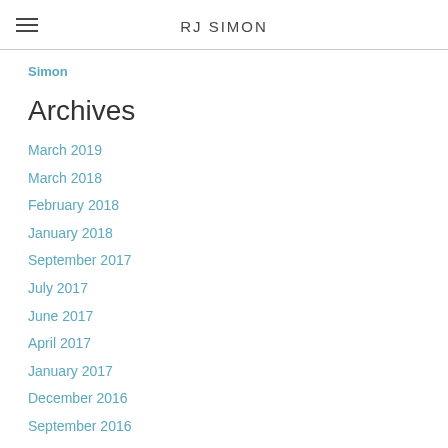RJ SIMON
Simon
Archives
March 2019
March 2018
February 2018
January 2018
September 2017
July 2017
June 2017
April 2017
January 2017
December 2016
September 2016
July 2016
May 2016
March 2016